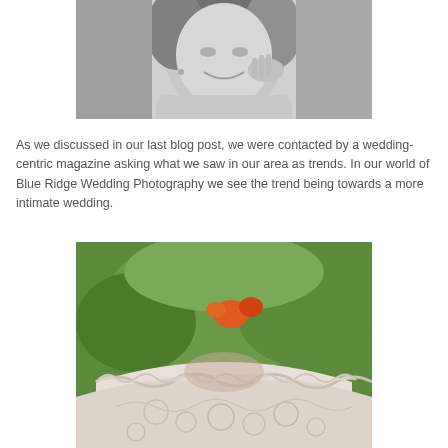[Figure (photo): Black and white close-up photo of a smiling woman touching her ear, likely putting on an earring.]
As we discussed in our last blog post, we were contacted by a wedding-centric magazine asking what we saw in our area as trends. In our world of Blue Ridge Wedding Photography we see the trend being towards a more intimate wedding.
[Figure (photo): Close-up color photo of white lace fabric (likely a wedding dress) with blurred green background and orange flowers visible at the neckline.]